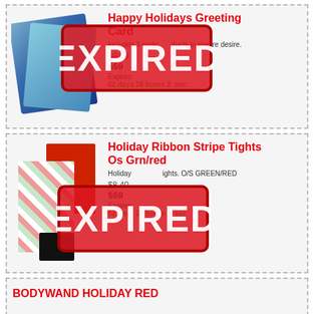Happy Holidays Greeting Card
Includes 3 erotic products to inspire desire.
$9.99 (strikethrough) $69 Expires: 62 days 18 hours 2 sec
[Figure (photo): Happy Holidays Greeting Card product image with EXPIRED stamp overlay]
Holiday Ribbon Stripe Tights Os Grn/red
Holiday ribbon stripe tights. O/S GREEN/RED
$8.40 (strikethrough) $69 Expires: 62 days 18 hours 2 sec
[Figure (photo): Holiday Ribbon Stripe Tights product image with EXPIRED stamp overlay]
BODYWAND HOLIDAY RED